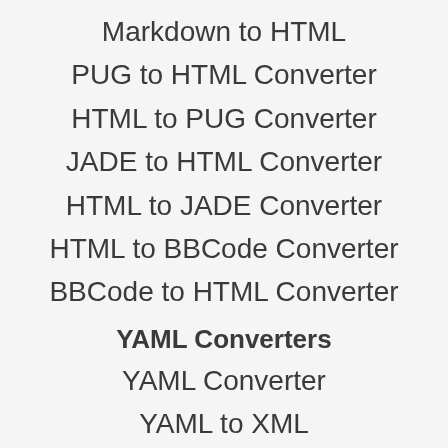Markdown to HTML
PUG to HTML Converter
HTML to PUG Converter
JADE to HTML Converter
HTML to JADE Converter
HTML to BBCode Converter
BBCode to HTML Converter
YAML Converters
YAML Converter
YAML to XML
YAML to JSON